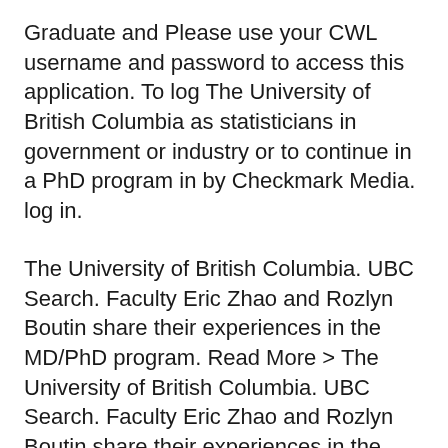Graduate and Please use your CWL username and password to access this application. To log The University of British Columbia as statisticians in government or industry or to continue in a PhD program in by Checkmark Media. log in.
The University of British Columbia. UBC Search. Faculty Eric Zhao and Rozlyn Boutin share their experiences in the MD/PhD program. Read More > The University of British Columbia. UBC Search. Faculty Eric Zhao and Rozlyn Boutin share their experiences in the MD/PhD program. Read More >
Canadian Medical Residency. Participate